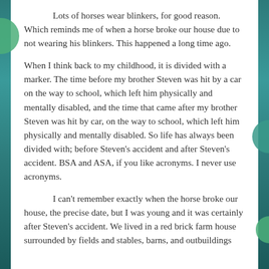Lots of horses wear blinkers, for good reason. Which reminds me of when a horse broke our house due to not wearing his blinkers. This happened a long time ago.
When I think back to my childhood, it is divided with a marker. The time before my brother Steven was hit by a car on the way to school, which left him physically and mentally disabled, and the time that came after my brother Steven was hit by car, on the way to school, which left him physically and mentally disabled. So life has always been divided with; before Steven's accident and after Steven's accident. BSA and ASA, if you like acronyms. I never use acronyms.
I can't remember exactly when the horse broke our house, the precise date, but I was young and it was certainly after Steven's accident. We lived in a red brick farm house surrounded by fields and stables, barns, and outbuildings